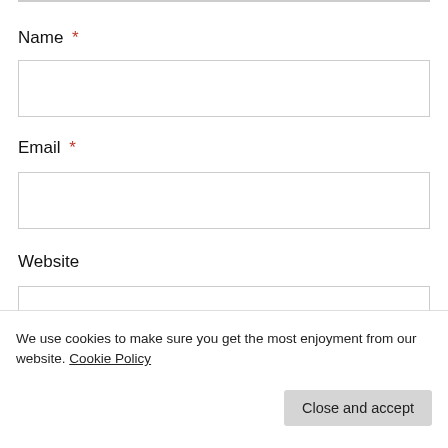Name *
[Figure (screenshot): Empty text input field for Name]
Email *
[Figure (screenshot): Empty text input field for Email]
Website
[Figure (screenshot): Empty text input field for Website]
[Figure (screenshot): Blue Post Comment button]
We use cookies to make sure you get the most enjoyment from our website. Cookie Policy
Close and accept
Notify me of new posts via email.